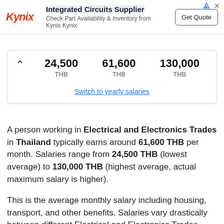[Figure (other): Kynix advertisement banner for Integrated Circuits Supplier with logo, text, and Get Quote button]
|  | Min | Avg | Max |
| --- | --- | --- | --- |
|  | 24,500 THB | 61,600 THB | 130,000 THB |
Switch to yearly salaries
A person working in Electrical and Electronics Trades in Thailand typically earns around 61,600 THB per month. Salaries range from 24,500 THB (lowest average) to 130,000 THB (highest average, actual maximum salary is higher).
This is the average monthly salary including housing, transport, and other benefits. Salaries vary drastically between different Electrical and Electronics Trades